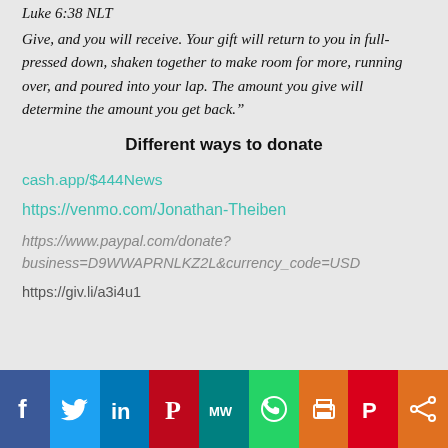Luke 6:38 NLT
Give, and you will receive. Your gift will return to you in full-pressed down, shaken together to make room for more, running over, and poured into your lap. The amount you give will determine the amount you get back."
Different ways to donate
cash.app/$444News
https://venmo.com/Jonathan-Theiben
https://www.paypal.com/donate?business=D9WWAPRNLKZ2L&currency_code=USD
https://giv.li/a3i4u1